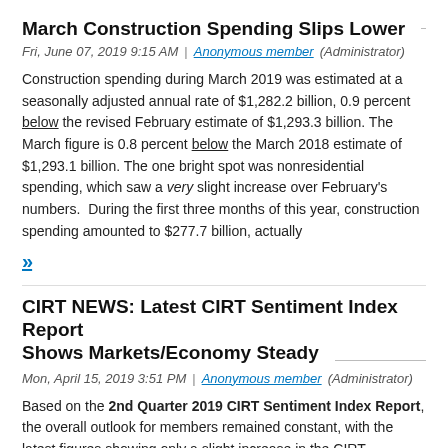March Construction Spending Slips Lower
Fri, June 07, 2019 9:15 AM | Anonymous member (Administrator)
Construction spending during March 2019 was estimated at a seasonally adjusted annual rate of $1,282.2 billion, 0.9 percent below the revised February estimate of $1,293.3 billion. The March figure is 0.8 percent below the March 2018 estimate of $1,293.1 billion. The one bright spot was nonresidential spending, which saw a very slight increase over February's numbers. During the first three months of this year, construction spending amounted to $277.7 billion, actually
»
CIRT NEWS: Latest CIRT Sentiment Index Report Shows Markets/Economy Steady
Mon, April 15, 2019 3:51 PM | Anonymous member (Administrator)
Based on the 2nd Quarter 2019 CIRT Sentiment Index Report, the overall outlook for members remained constant, with the latest figures showing only a slight increase in the CIRT Sentiment Index vs. a marginal decrease in the Design Index when compared with the first